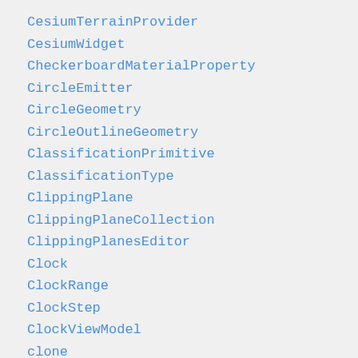CesiumTerrainProvider
CesiumWidget
CheckerboardMaterialProperty
CircleEmitter
CircleGeometry
CircleOutlineGeometry
ClassificationPrimitive
ClassificationType
ClippingPlane
ClippingPlaneCollection
ClippingPlanesEditor
Clock
ClockRange
ClockStep
ClockViewModel
clone
CloudCollection
CloudType
Color
ColorBlendMode